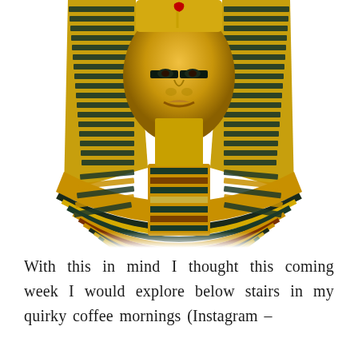[Figure (photo): Close-up photograph of the golden death mask of Tutankhamun, the ancient Egyptian pharaoh. The mask is shown from the head down to the chest, displaying the golden nemes headdress with blue and gold stripes, the golden face with serene expression, and the elaborate beaded collar (wesekh) with multicolored inlaid decoration in gold, blue, black, red, and other colors, against a white background.]
With this in mind I thought this coming week I would explore below stairs in my quirky coffee mornings (Instagram –